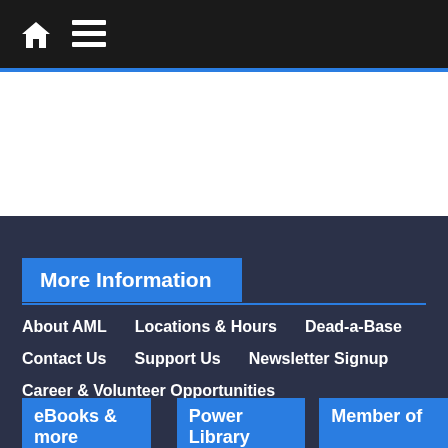Home | Menu
More Information
About AML
Locations & Hours
Dead-a-Base
Contact Us
Support Us
Newsletter Signup
Career & Volunteer Opportunities
eBooks & more
Power Library
Member of